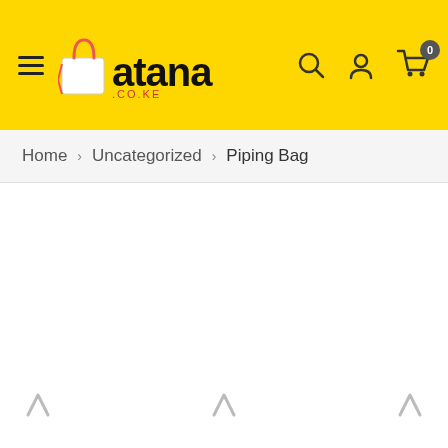atana.co.ke — navigation header with hamburger menu, logo, search icon, user icon, cart icon with badge 0
Home > Uncategorized > Piping Bag